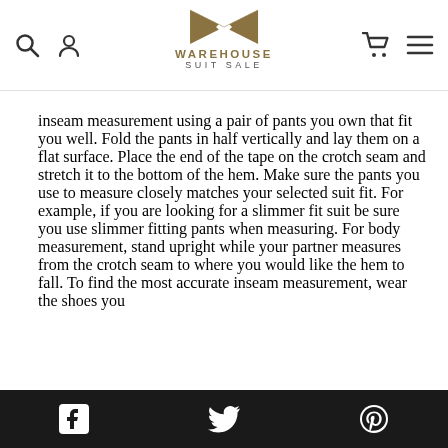Warehouse Suit Sale — navigation header with logo
inseam measurement using a pair of pants you own that fit you well. Fold the pants in half vertically and lay them on a flat surface. Place the end of the tape on the crotch seam and stretch it to the bottom of the hem. Make sure the pants you use to measure closely matches your selected suit fit. For example, if you are looking for a slimmer fit suit be sure you use slimmer fitting pants when measuring. For body measurement, stand upright while your partner measures from the crotch seam to where you would like the hem to fall. To find the most accurate inseam measurement, wear the shoes you
Facebook | Twitter | Pinterest